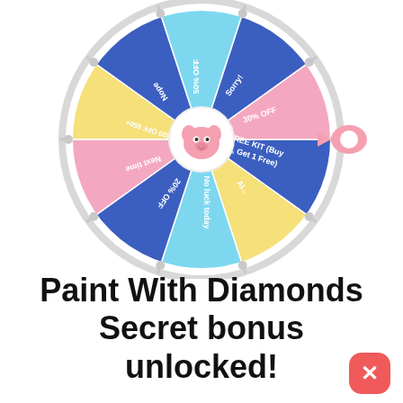[Figure (other): Prize wheel spinner with multiple colored segments: 30% OFF (dark blue), Sorry! (dark blue), 50% OFF (pink), Nope (yellow), $20 OFF $50+ (light blue), Next time (dark blue), 20% OFF (pink), No luck today (light blue), FREE KIT (Buy 2, Get 1 Free) (dark blue), and other segments. Wheel has white rim with pegs and a pink arrow pointer on the right. Center has a pink cartoon elephant mascot.]
Paint With Diamonds Secret bonus unlocked!